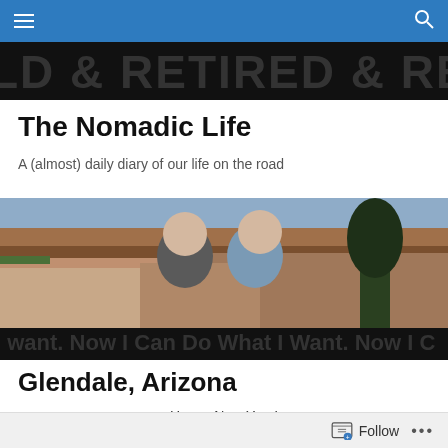Navigation bar with menu and search icons
[Figure (photo): A repeating banner showing text 'RETIRED' in large block letters on a dark background, partially visible at the top]
The Nomadic Life
A (almost) daily diary of our life on the road
[Figure (photo): A couple (woman and man) posing at the Grand Canyon overlook. The woman wears glasses and a dark patterned top; the man is bald, wearing sunglasses and a blue striped shirt. Below them a repeating banner reads 'Now I Can Do What I Want']
Glendale, Arizona
Happy New Year!
We walked the dogs with Susan and Wally again this
Follow  •••